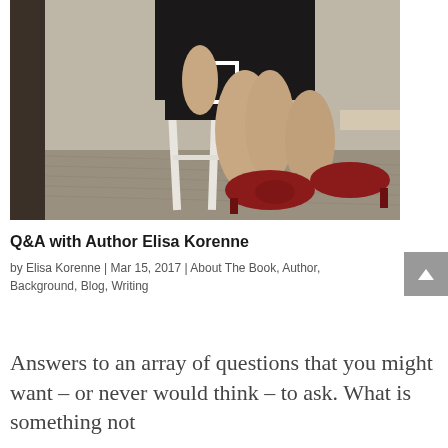[Figure (photo): Photo of a woman in a black dress and red heels sitting on a white stool, partial view showing legs and shoes, in a room with patterned wallpaper.]
Q&A with Author Elisa Korenne
by Elisa Korenne | Mar 15, 2017 | About The Book, Author, Background, Blog, Writing
Answers to an array of questions that you might want – or never would think – to ask. What is something not